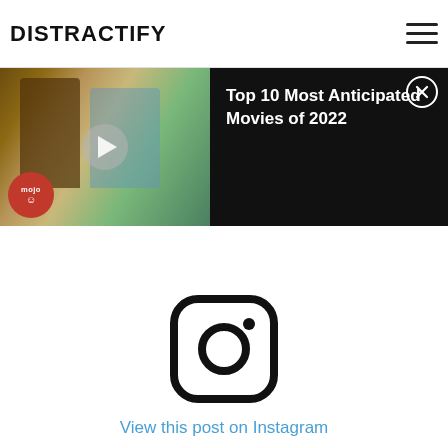DISTRACTIFY
[Figure (screenshot): Video thumbnail showing two people (man in brown suit and woman in blue outfit), with WatchMojo logo badge, play button overlay, and video title 'Top 10 Most Anticipated Movies of 2022' on black background with close button]
[Figure (logo): Instagram logo icon — rounded square with camera outline and dot]
View this post on Instagram